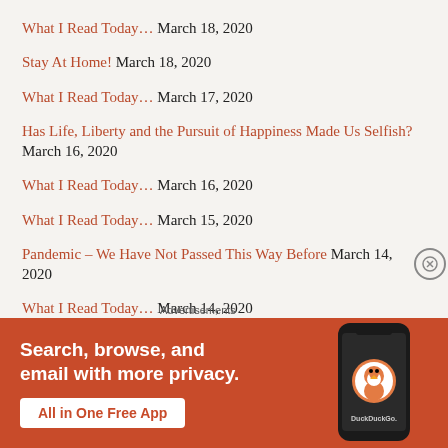What I Read Today… March 18, 2020
Stay At Home! March 18, 2020
What I Read Today… March 17, 2020
Has Life, Liberty and the Pursuit of Happiness Made Us Selfish? March 16, 2020
What I Read Today… March 16, 2020
What I Read Today… March 15, 2020
Pandemic – We Have Not Passed This Way Before March 14, 2020
What I Read Today… March 14, 2020
What I Read Today… March 13, 2020
[Figure (illustration): DuckDuckGo advertisement banner: orange background with white text 'Search, browse, and email with more privacy. All in One Free App' with a smartphone showing the DuckDuckGo logo]